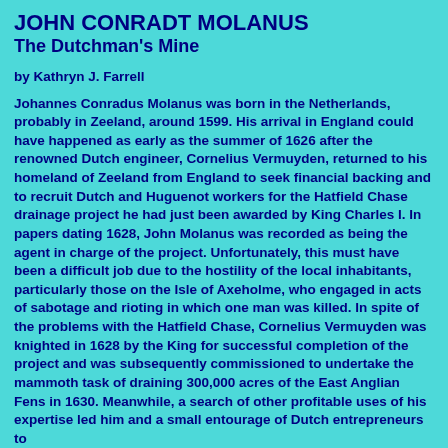JOHN CONRADT MOLANUS
The Dutchman's Mine
by Kathryn J. Farrell
Johannes Conradus Molanus was born in the Netherlands, probably in Zeeland, around 1599. His arrival in England could have happened as early as the summer of 1626 after the renowned Dutch engineer, Cornelius Vermuyden, returned to his homeland of Zeeland from England to seek financial backing and to recruit Dutch and Huguenot workers for the Hatfield Chase drainage project he had just been awarded by King Charles I. In papers dating 1628, John Molanus was recorded as being the agent in charge of the project. Unfortunately, this must have been a difficult job due to the hostility of the local inhabitants, particularly those on the Isle of Axeholme, who engaged in acts of sabotage and rioting in which one man was killed. In spite of the problems with the Hatfield Chase, Cornelius Vermuyden was knighted in 1628 by the King for successful completion of the project and was subsequently commissioned to undertake the mammoth task of draining 300,000 acres of the East Anglian Fens in 1630. Meanwhile, a search of other profitable uses of his expertise led him and a small entourage of Dutch entrepreneurs to